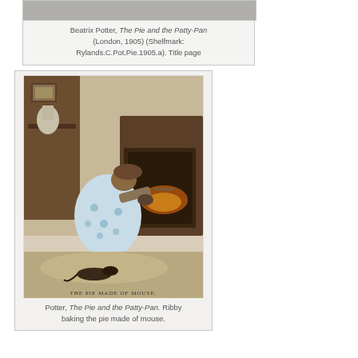[Figure (photo): Partial view of a book title page from Beatrix Potter, The Pie and the Patty-Pan]
Beatrix Potter, The Pie and the Patty-Pan (London, 1905) (Shelfmark: Rylands.C.Pot.Pie.1905.a). Title page
[Figure (illustration): Illustration from The Pie and the Patty-Pan showing Ribby baking the pie made of mouse. A hedgehog or similar animal figure in a blue-flowered gown bends over a stove, with a small animal lying on the floor nearby. Caption at bottom reads: THE PIE MADE OF MOUSE.]
Potter, The Pie and the Patty-Pan. Ribby baking the pie made of mouse.